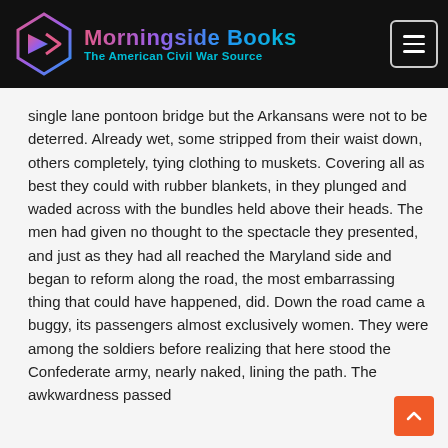Morningside Books – The American Civil War Source
single lane pontoon bridge but the Arkansans were not to be deterred. Already wet, some stripped from their waist down, others completely, tying clothing to muskets. Covering all as best they could with rubber blankets, in they plunged and waded across with the bundles held above their heads. The men had given no thought to the spectacle they presented, and just as they had all reached the Maryland side and began to reform along the road, the most embarrassing thing that could have happened, did. Down the road came a buggy, its passengers almost exclusively women. They were among the soldiers before realizing that here stood the Confederate army, nearly naked, lining the path. The awkwardness passed